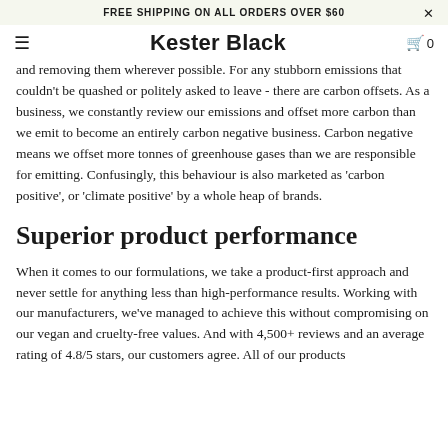FREE SHIPPING ON ALL ORDERS OVER $60
Kester Black
and removing them wherever possible. For any stubborn emissions that couldn't be quashed or politely asked to leave - there are carbon offsets. As a business, we constantly review our emissions and offset more carbon than we emit to become an entirely carbon negative business. Carbon negative means we offset more tonnes of greenhouse gases than we are responsible for emitting. Confusingly, this behaviour is also marketed as 'carbon positive', or 'climate positive' by a whole heap of brands.
Superior product performance
When it comes to our formulations, we take a product-first approach and never settle for anything less than high-performance results. Working with our manufacturers, we've managed to achieve this without compromising on our vegan and cruelty-free values. And with 4,500+ reviews and an average rating of 4.8/5 stars, our customers agree. All of our products